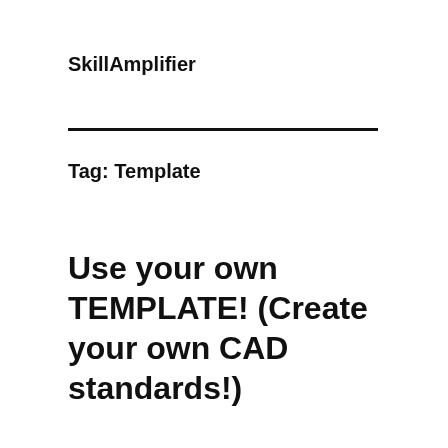SkillAmplifier
Tag: Template
Use your own TEMPLATE! (Create your own CAD standards!)